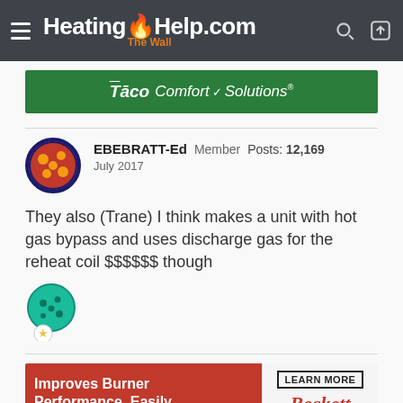HeatingHelp.com The Wall
[Figure (logo): Taco Comfort Solutions green advertisement banner]
EBEBRATT-Ed   Member   Posts: 12,169
July 2017
They also (Trane) I think makes a unit with hot gas bypass and uses discharge gas for the reheat coil $$$$$$ though
[Figure (illustration): Teal reaction emoji with star badge]
[Figure (illustration): Beckett ad: Improves Burner Performance. Easily. LEARN MORE]